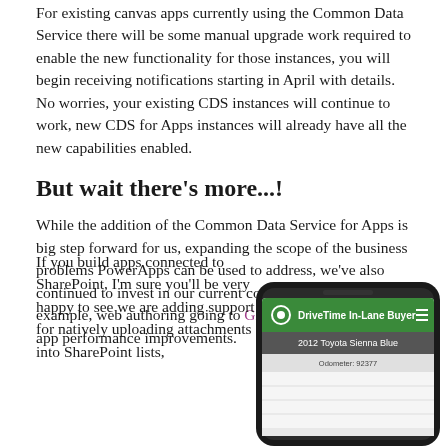For existing canvas apps currently using the Common Data Service there will be some manual upgrade work required to enable the new functionality for those instances, you will begin receiving notifications starting in April with details. No worries, your existing CDS instances will continue to work, new CDS for Apps instances will already have all the new capabilities enabled.
But wait there's more...!
While the addition of the Common Data Service for Apps is big step forward for us, expanding the scope of the business problems PowerApps can be used to address, we've also continued to invest in our current core feature set. For example, web authoring going to GA today and continued app performance improvements.
If you build apps connected to SharePoint, I'm sure you'll be very happy to see we are adding support for natively uploading attachments into SharePoint lists,
[Figure (screenshot): A smartphone displaying the DriveTime In-Lane Buyer app showing a 2012 Toyota Sienna Blue listing with odometer reading 92377]